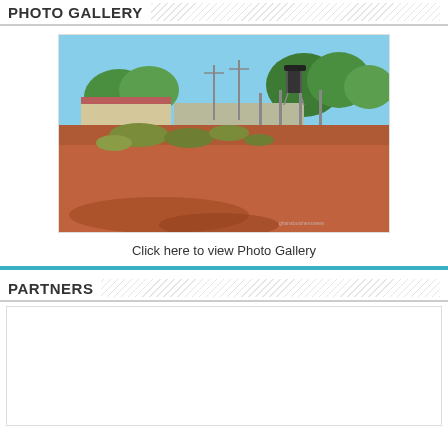PHOTO GALLERY
[Figure (photo): Outdoor scene showing a rural or semi-urban compound with a water tower, trees, low buildings, red dirt ground, and shadows in foreground. Watermark text visible in lower right corner.]
Click here to view Photo Gallery
PARTNERS
[Figure (other): Empty white box representing partners logos area]